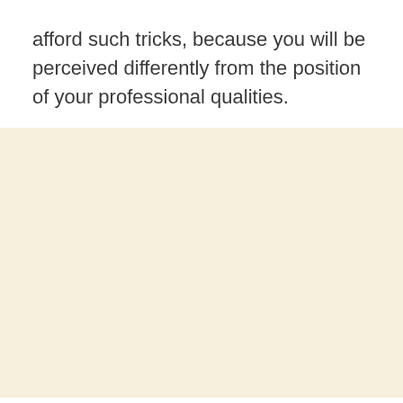afford such tricks, because you will be perceived differently from the position of your professional qualities.